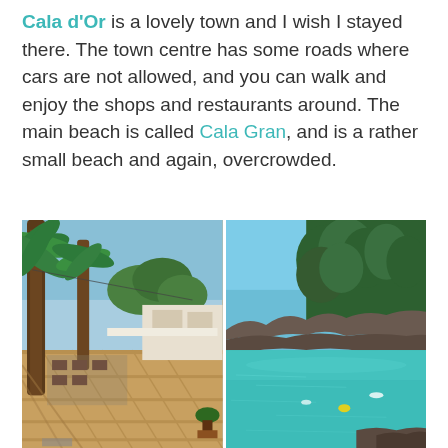Cala d'Or is a lovely town and I wish I stayed there. The town centre has some roads where cars are not allowed, and you can walk and enjoy the shops and restaurants around. The main beach is called Cala Gran, and is a rather small beach and again, overcrowded.
[Figure (photo): Two side-by-side photos: left shows a palm-lined pedestrian promenade with outdoor restaurant seating and terracotta paving in Cala d'Or; right shows a calm turquoise bay with rocky shoreline and green pine trees under a blue sky.]